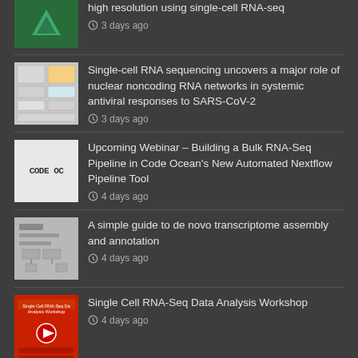high resolution using single-cell RNA-seq — 3 days ago
Single-cell RNA sequencing uncovers a major role of nuclear noncoding RNA networks in systemic antiviral responses to SARS-CoV-2 — 3 days ago
Upcoming Webinar – Building a Bulk RNA-Seq Pipeline in Code Ocean's New Automated Nextflow Pipeline Tool — 4 days ago
A simple guide to de novo transcriptome assembly and annotation — 4 days ago
Single Cell RNA-Seq Data Analysis Workshop — 4 days ago